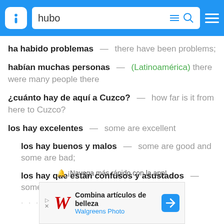hubo — search bar header
ha habido problemas — there have been problems;
habían muchas personas — (Latinoamérica) there were many people there
¿cuánto hay de aquí a Cuzco? — how far is it from here to Cuzco?
los hay excelentes — some are excellent
los hay buenos y malos — some are good and some are bad;
los hay que están confusos y asustados — some (people) are confused and afraid;
🔔 ¡Navega más rápido con la app!
[Figure (screenshot): Walgreens Photo advertisement: Combina artículos de belleza]